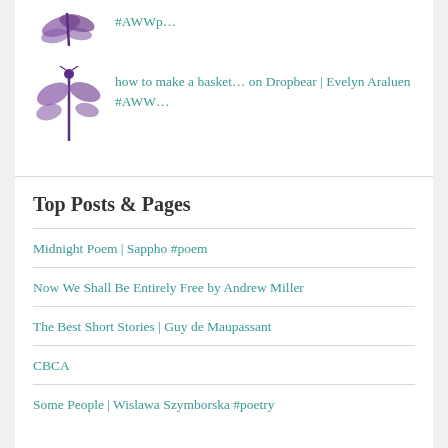[Figure (illustration): Purple dragonfly illustration (partial, top cropped)]
#AWWp...
[Figure (illustration): Purple dragonfly illustration]
how to make a basket... on Dropbear | Evelyn Araluen #AWW...
Top Posts & Pages
Midnight Poem | Sappho #poem
Now We Shall Be Entirely Free by Andrew Miller
The Best Short Stories | Guy de Maupassant
CBCA
Some People | Wislawa Szymborska #poetry